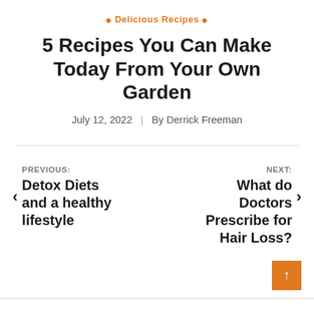♦ Delicious Recipes ♦
5 Recipes You Can Make Today From Your Own Garden
July 12, 2022  |  By Derrick Freeman
PREVIOUS: Detox Diets and a healthy lifestyle
NEXT: What do Doctors Prescribe for Hair Loss?